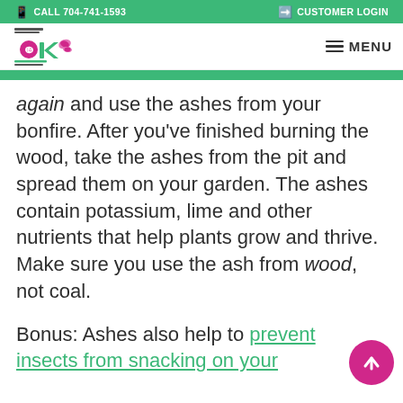CALL 704-741-1593 | CUSTOMER LOGIN
[Figure (logo): Colorful company logo with butterfly and letters]
again and use the ashes from your bonfire. After you've finished burning the wood, take the ashes from the pit and spread them on your garden. The ashes contain potassium, lime and other nutrients that help plants grow and thrive. Make sure you use the ash from wood, not coal.

Bonus: Ashes also help to prevent insects from snacking on your
[Figure (other): Pink circular scroll-to-top button with upward arrow]